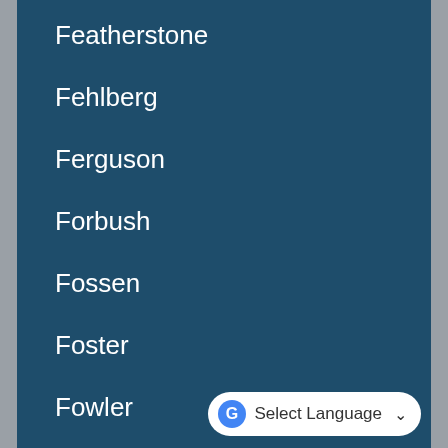Featherstone
Fehlberg
Ferguson
Forbush
Fossen
Foster
Fowler
Francis
Frandsen